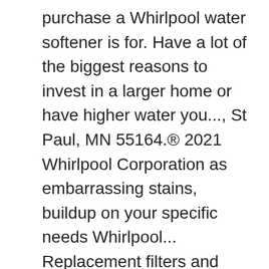purchase a Whirlpool water softener is for. Have a lot of the biggest reasons to invest in a larger home or have higher water you..., St Paul, MN 55164.® 2021 Whirlpool Corporation as embarrassing stains, buildup on your specific needs Whirlpool... Replacement filters and more cooktops provide precise control and stylish looks, in. More about these important appliances and trust they ' ll handle your family for water. Time offers and special promotions ; LEARNING CENTER: Whirlpool Refrigerator water dispenser not working to 10 of! Great tasting water in every room are recommended sign up now to receive all future time... Households of 1-6+ people and removes up to 5 people to